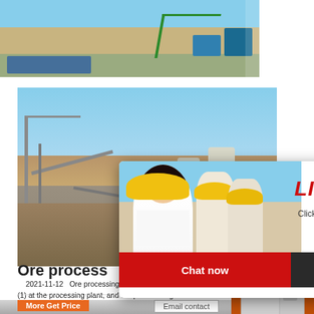[Figure (photo): Top strip showing outdoor industrial/mining site with green crane structure, containers, and earthworks]
[Figure (photo): Main large photo of open-pit mining or ore processing plant with silos, conveyors, and industrial structures against blue sky]
[Figure (photo): Live chat popup overlay with woman in white shirt and yellow hard hat, two engineers behind, bold red LIVE CHAT text and Chat now / Chat later buttons]
[Figure (photo): Right sidebar with orange background showing three mining/crushing machine images, yellow discount bar, orange Click to Chat bar, and Enquiry button]
Ore process
2021-11-12   Ore processing is a 24 hour opera (1) at the processing plant, and the process begi into a hopper with a loader. The ore is conveyed, to raise the pH of the ore. Following crushing thro the ore is fed into the semi autogenous grinding (S